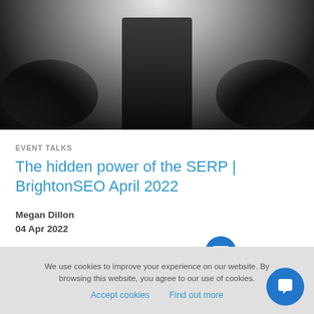[Figure (photo): Black and white photo of a person standing on a stage, lower body visible, blurred dark silhouettes in the foreground]
EVENT TALKS
The hidden power of the SERP | BrightonSEO April 2022
Megan Dillon
04 Apr 2022
Got any questions? I'm happy to help.
We use cookies to improve your experience on our website. By browsing this website, you agree to our use of cookies.
Accept cookies   Find out more